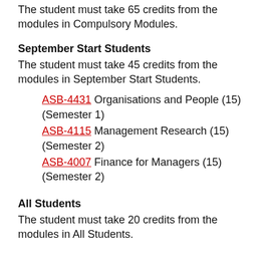The student must take 65 credits from the modules in Compulsory Modules.
September Start Students
The student must take 45 credits from the modules in September Start Students.
ASB-4431 Organisations and People (15) (Semester 1)
ASB-4115 Management Research (15) (Semester 2)
ASB-4007 Finance for Managers (15) (Semester 2)
All Students
The student must take 20 credits from the modules in All Students.